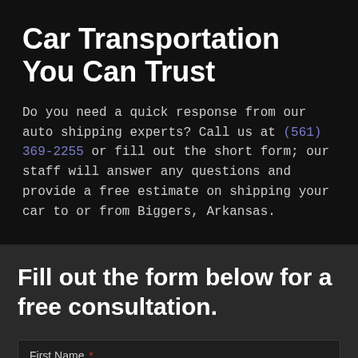Car Transportation You Can Trust
Do you need a quick response from our auto shipping experts? Call us at (561) 369-2255 or fill out the short form; our staff will answer any questions and provide a free estimate on shipping your car to or from Biggers, Arkansas.
Fill out the form below for a free consultation.
First Name *
Last Name *